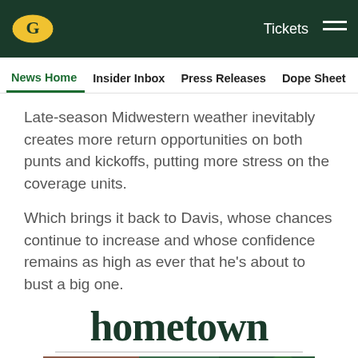Green Bay Packers - Tickets - Menu
News Home | Insider Inbox | Press Releases | Dope Sheet | Game
Late-season Midwestern weather inevitably creates more return opportunities on both punts and kickoffs, putting more stress on the coverage units.
Which brings it back to Davis, whose chances continue to increase and whose confidence remains as high as ever that he's about to bust a big one.
hometown
[Figure (photo): Partial image of a person wearing a dark green Green Bay Packers hat with a yellow logo, with green foliage in background]
Social share icons: Facebook, Twitter, Email, Link